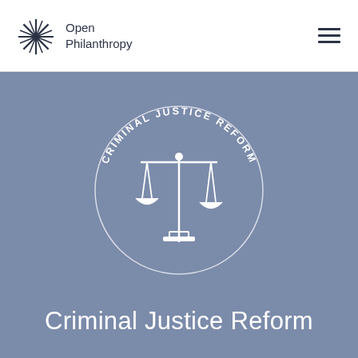[Figure (logo): Open Philanthropy logo: starburst/asterisk icon in dark navy, with text 'Open Philanthropy' to the right in dark navy sans-serif]
[Figure (illustration): Circular badge on slate-blue background: 'CRIMINAL JUSTICE REFORM' text curved around the top of a circle, with scales of justice icon (balance scale) in the center, all in white lines on slate-blue]
Criminal Justice Reform